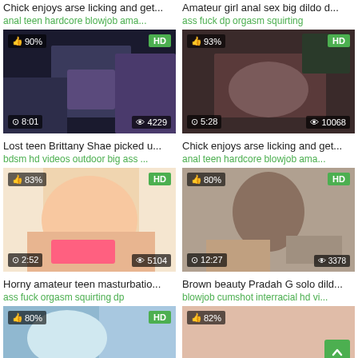Chick enjoys arse licking and get...
anal teen hardcore blowjob ama...
Amateur girl anal sex big dildo d...
ass fuck dp orgasm squirting
[Figure (screenshot): Video thumbnail 90% HD, 8:01, 4229 views]
[Figure (screenshot): Video thumbnail 93% HD, 5:28, 10068 views]
Lost teen Brittany Shae picked u...
bdsm hd videos outdoor big ass ...
Chick enjoys arse licking and get...
anal teen hardcore blowjob ama...
[Figure (screenshot): Video thumbnail 83% HD, 2:52, 5104 views]
[Figure (screenshot): Video thumbnail 80% HD, 12:27, 3378 views]
Horny amateur teen masturbatio...
ass fuck orgasm squirting dp
Brown beauty Pradah G solo dild...
blowjob cumshot interracial hd vi...
[Figure (screenshot): Video thumbnail 80% HD, partial]
[Figure (screenshot): Video thumbnail 82%, partial, back-to-top button]